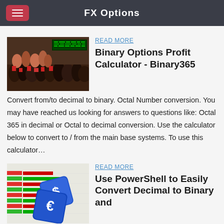FX Options
[Figure (photo): Crowd of traders on a trading floor with electronic tickers in background]
Binary Options Profit Calculator - Binary365
Convert from/to decimal to binary. Octal Number conversion. You may have reached us looking for answers to questions like: Octal 365 in decimal or Octal to decimal conversion. Use the calculator below to convert to / from the main base systems. To use this calculator…
[Figure (photo): Two blue dice with dollar and euro currency symbols on a financial chart background]
Use PowerShell to Easily Convert Decimal to Binary and
2018/07/20 · Naturally, you can fill in that binary line with any binary